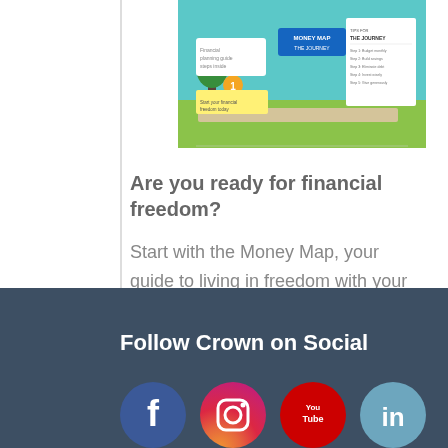[Figure (infographic): Money Map infographic showing a journey-themed financial guide with colorful illustrations, trees, road path, and text panels about financial freedom steps.]
Are you ready for financial freedom?
Start with the Money Map, your guide to living in freedom with your finances.
[Figure (illustration): Orange Download Now button]
Follow Crown on Social
[Figure (illustration): Social media icons: Facebook, Instagram, YouTube, LinkedIn]